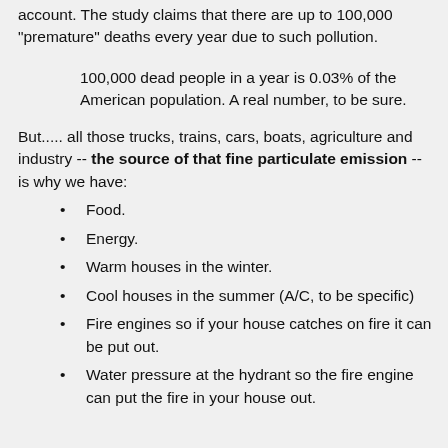account.  The study claims that there are up to 100,000 "premature" deaths every year due to such pollution.
100,000 dead people in a year is 0.03% of the American population.  A real number, to be sure.
But..... all those trucks, trains, cars, boats, agriculture and industry -- the source of that fine particulate emission -- is why we have:
Food.
Energy.
Warm houses in the winter.
Cool houses in the summer (A/C, to be specific)
Fire engines so if your house catches on fire it can be put out.
Water pressure at the hydrant so the fire engine can put the fire in your house out.